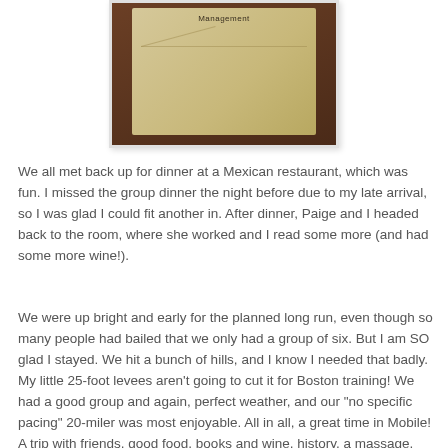[Figure (photo): A photograph of what appears to be a paper bag or envelope with the word 'Management' printed on it, placed on a dark surface. The image is cropped at the top of the page.]
We all met back up for dinner at a Mexican restaurant, which was fun. I missed the group dinner the night before due to my late arrival, so I was glad I could fit another in. After dinner, Paige and I headed back to the room, where she worked and I read some more (and had some more wine!).
We were up bright and early for the planned long run, even though so many people had bailed that we only had a group of six. But I am SO glad I stayed. We hit a bunch of hills, and I know I needed that badly. My little 25-foot levees aren't going to cut it for Boston training! We had a good group and again, perfect weather, and our "no specific pacing" 20-miler was most enjoyable. All in all, a great time in Mobile! A trip with friends, good food, books and wine, history, a massage, running, and a PR? Perfect weekend, I'd say!